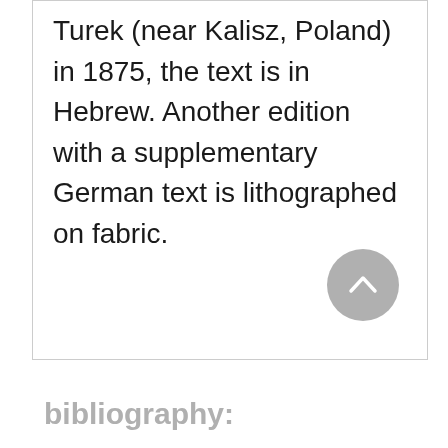Turek (near Kalisz, Poland) in 1875, the text is in Hebrew. Another edition with a supplementary German text is lithographed on fabric.
bibliography: